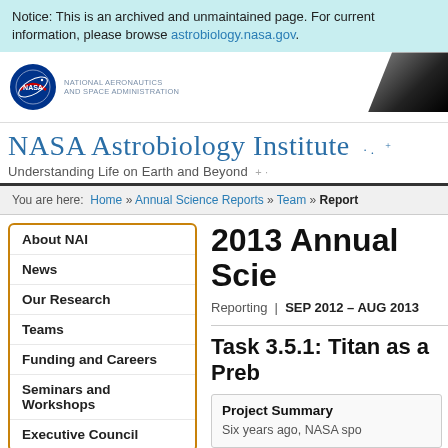Notice: This is an archived and unmaintained page. For current information, please browse astrobiology.nasa.gov.
[Figure (logo): NASA logo with National Aeronautics and Space Administration text, and dark header decoration]
NASA Astrobiology Institute
Understanding Life on Earth and Beyond
You are here: Home » Annual Science Reports » Team » Report
About NAI
News
Our Research
Teams
Funding and Careers
Seminars and Workshops
Executive Council
Directory
2013 Annual Science Report
Reporting | SEP 2012 – AUG 2013
Task 3.5.1: Titan as a Prebiotic...
Project Summary
Six years ago, NASA spo...